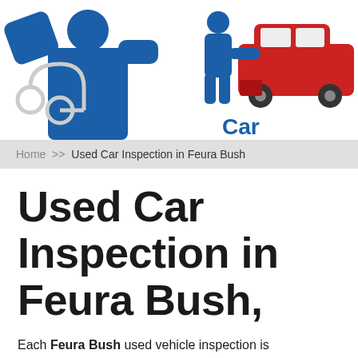[Figure (illustration): Blue stylized mechanic figure with stethoscope (left) and blue person inspecting red car with 'Car' text logo (right) — website header banner]
Home >> Used Car Inspection in Feura Bush
Used Car Inspection in Feura Bush,
Each Feura Bush used vehicle inspection is